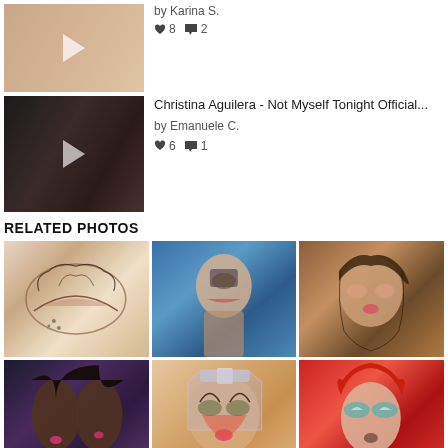[Figure (photo): Video thumbnail - woman with makeup, play button overlay]
by Karina S.
♥ 8  💬 2
[Figure (photo): Video thumbnail - Christina Aguilera Not Myself Tonight makeup look, dark dramatic eye makeup with spikes, play button overlay]
Christina Aguilera - Not Myself Tonight Official...
by Emanuele C.
♥ 6  💬 1
RELATED PHOTOS
[Figure (photo): Close-up of elaborate eye makeup with tattoo-like design, pink and grey eyeshadow]
[Figure (photo): Woman taking selfie, wearing blue top]
[Figure (photo): Woman with curly hair and pink lips, colorful eyeshadow]
[Figure (photo): Two women with long dark hair, side view, pink eyeshadow]
[Figure (photo): Woman with rhinestone headpiece, dramatic green and blue eyeshadow]
[Figure (photo): Woman with red hair, teal and white eyeshadow]